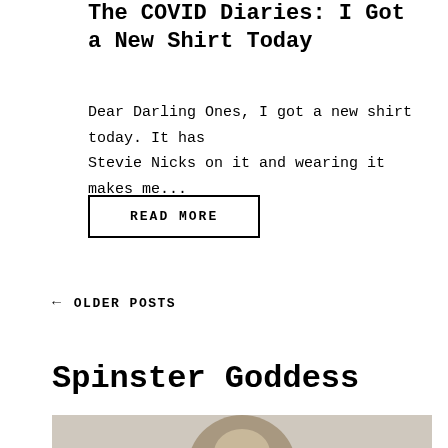The COVID Diaries: I Got a New Shirt Today
Dear Darling Ones, I got a new shirt today. It has Stevie Nicks on it and wearing it makes me...
READ MORE
← OLDER POSTS
Spinster Goddess
[Figure (photo): Partial photo strip showing top of a person's head, cropped at bottom of page]